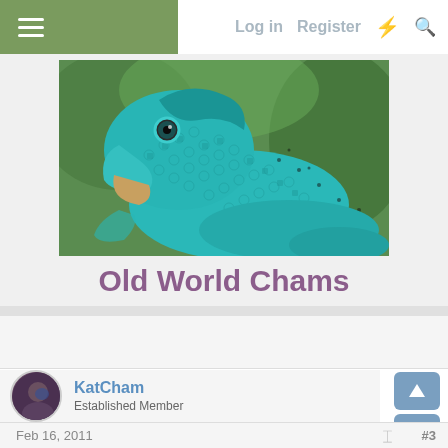Log in  Register
[Figure (photo): Close-up photo of a teal/turquoise chameleon with its mouth open, detailed scale texture visible, green foliage in background]
Old World Chams
KatCham
Established Member
Feb 16, 2011  #3